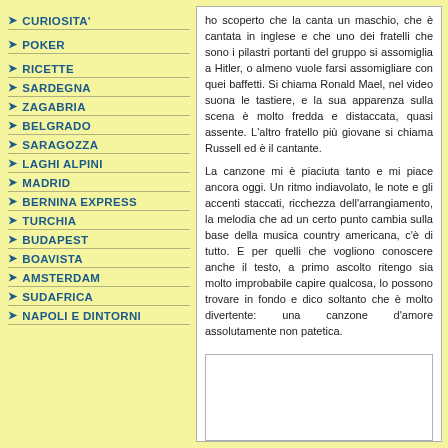CURIOSITA'
POKER
RICETTE
SARDEGNA
ZAGABRIA
BELGRADO
SARAGOZZA
LAGHI ALPINI
MADRID
BERNINA EXPRESS
TURCHIA
BUDAPEST
BOAVISTA
AMSTERDAM
SUDAFRICA
NAPOLI E DINTORNI
ho scoperto che la canta un maschio, che è cantata in inglese e che uno dei fratelli che sono i pilastri portanti del gruppo si assomiglia a Hitler, o almeno vuole farsi assomigliare con quei baffetti. Si chiama Ronald Mael, nel video suona le tastiere, e la sua apparenza sulla scena è molto fredda e distaccata, quasi assente. L'altro fratello più giovane si chiama Russell ed è il cantante. La canzone mi è piaciuta tanto e mi piace ancora oggi. Un ritmo indiavolato, le note e gli accenti staccati, ricchezza dell'arrangiamento, la melodia che ad un certo punto cambia sulla base della musica country americana, c'è di tutto. E per quelli che vogliono conoscere anche il testo, a primo ascolto ritengo sia molto improbabile capire qualcosa, lo possono trovare in fondo e dico soltanto che è molto divertente: una canzone d'amore assolutamente non patetica.